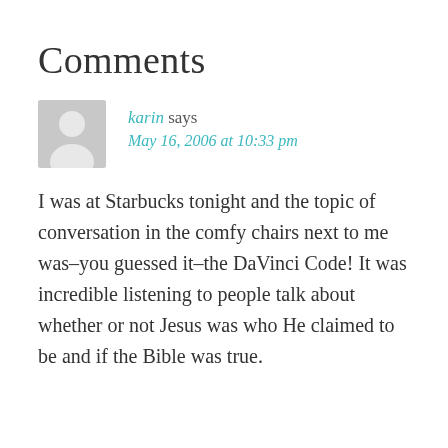Comments
karin says
May 16, 2006 at 10:33 pm
I was at Starbucks tonight and the topic of conversation in the comfy chairs next to me was–you guessed it–the DaVinci Code! It was incredible listening to people talk about whether or not Jesus was who He claimed to be and if the Bible was true.